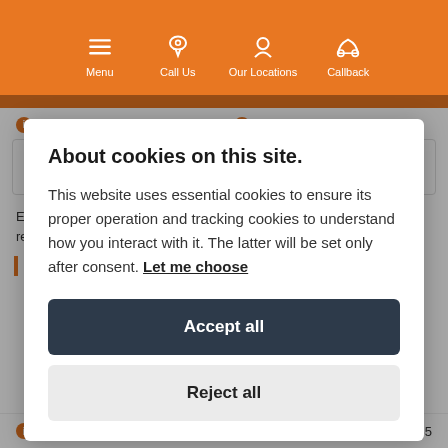Menu | Call Us | Our Locations | Callback
Your Payment   OR   £4,899.65   Your Deposit
Each time you change the options above, the quote below will recalculate for you.
About cookies on this site.
This website uses essential cookies to ensure its proper operation and tracking cookies to understand how you interact with it. The latter will be set only after consent. Let me choose
Accept all
Reject all
Cash Deposit   £4,899.65